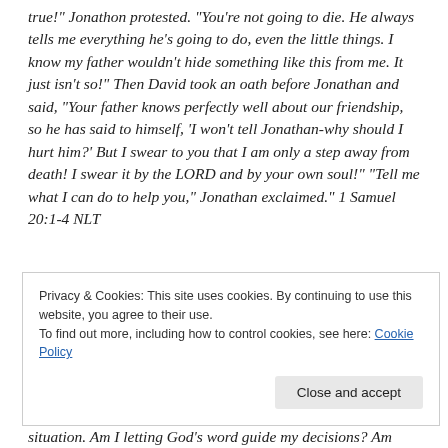true!" Jonathon protested. "You're not going to die. He always tells me everything he's going to do, even the little things. I know my father wouldn't hide something like this from me. It just isn't so!" Then David took an oath before Jonathan and said, "Your father knows perfectly well about our friendship, so he has said to himself, 'I won't tell Jonathan-why should I hurt him?' But I swear to you that I am only a step away from death! I swear it by the LORD and by your own soul!" "Tell me what I can do to help you," Jonathan exclaimed." 1 Samuel 20:1-4 NLT
Privacy & Cookies: This site uses cookies. By continuing to use this website, you agree to their use.
To find out more, including how to control cookies, see here: Cookie Policy
situation. Am I letting God's word guide my decisions? Am